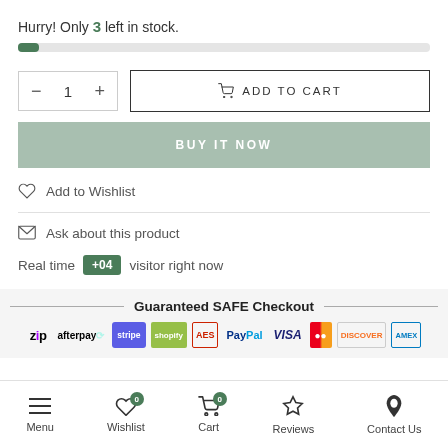Hurry! Only 3 left in stock.
[Figure (infographic): Progress bar showing low stock level, approximately 5% filled in green]
[Figure (infographic): Quantity selector with minus button, value 1, plus button; and Add to Cart button with cart icon]
[Figure (infographic): BUY IT NOW button in sage green]
Add to Wishlist
Ask about this product
Real time +04 visitor right now
Guaranteed SAFE Checkout
[Figure (infographic): Payment logos: Zip, Afterpay, Stripe, Shopify Secure, AES, PayPal, VISA, Mastercard, Discover, American Express]
[Figure (infographic): Bottom navigation bar with Menu, Wishlist (0), Cart (0), Reviews, Contact Us icons]